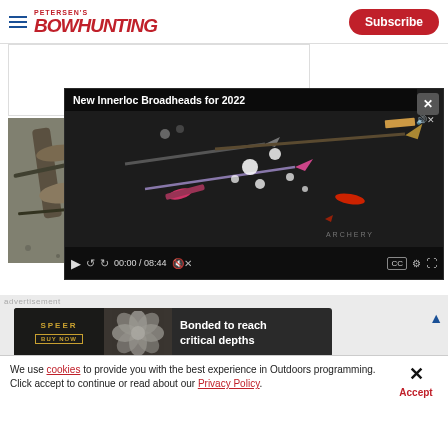Petersen's Bowhunting — Subscribe
New Bow Accessories for 2022
Jon E. Silks
[Figure (screenshot): Video player showing 'New Innerloc Broadheads for 2022' with broadheads and arrows on dark background. Controls show 00:00 / 08:44 timecode.]
[Figure (photo): Partial photo of hunting gear/bow accessories in natural/outdoor setting]
We use cookies to provide you with the best experience in Outdoors programming. Click accept to continue or read about our Privacy Policy.
[Figure (infographic): SPEER advertisement banner: 'Bonded to reach critical depths' with BUY NOW call to action and decorative flower image]